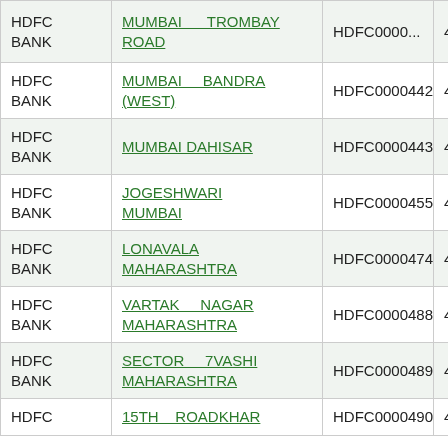| Bank | Branch | IFSC | Pincode |
| --- | --- | --- | --- |
| HDFC BANK | MUMBAI ... TROMBAY ROAD | HDFC000... | 400240... |
| HDFC BANK | MUMBAI BANDRA (WEST) | HDFC0000442 | 400240065 |
| HDFC BANK | MUMBAI DAHISAR | HDFC0000443 | 400240066 |
| HDFC BANK | JOGESHWARI MUMBAI | HDFC0000455 | 400240067 |
| HDFC BANK | LONAVALA MAHARASHTRA | HDFC0000474 | 410240001 |
| HDFC BANK | VARTAK NAGAR MAHARASHTRA | HDFC0000488 | 400240069 |
| HDFC BANK | SECTOR 7VASHI MAHARASHTRA | HDFC0000489 | 400240070 |
| HDFC BANK | 15TH ROADKHAR ... | HDFC0000490 | 400240068 |